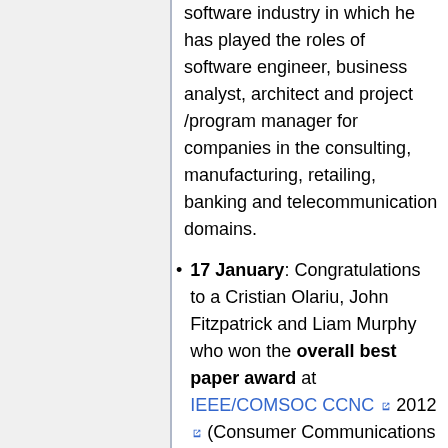software industry in which he has played the roles of software engineer, business analyst, architect and project /program manager for companies in the consulting, manufacturing, retailing, banking and telecommunication domains.
17 January: Congratulations to a Cristian Olariu, John Fitzpatrick and Liam Murphy who won the overall best paper award at IEEE/COMSOC CCNC 2012 (Consumer Communications and Networking Conference) for their paper entitled A QoS based call admission control and resource allocation mechanism for LTE femtocell deployments. CCNC is one of the IEEs flagship communication conferences and is co-located with